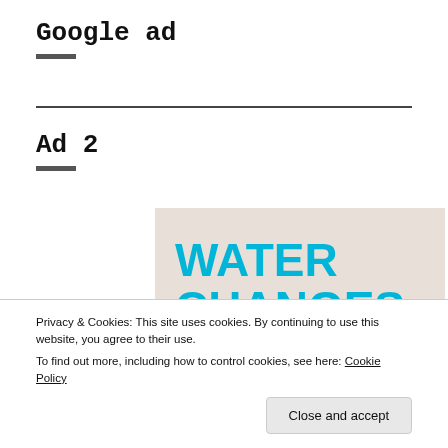Google ad
Ad 2
[Figure (screenshot): Advertisement image with beige/tan background showing bold cyan text reading 'WATER CHANGES EVERYTHING.' in large uppercase letters]
Privacy & Cookies: This site uses cookies. By continuing to use this website, you agree to their use.
To find out more, including how to control cookies, see here: Cookie Policy
Close and accept